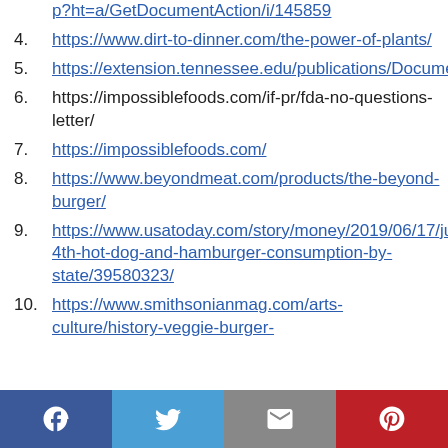p?ht=a/GetDocumentAction/i/145859
https://www.dirt-to-dinner.com/the-power-of-plants/
https://extension.tennessee.edu/publications/Documents/PB1822.pdf
https://impossiblefoods.com/if-pr/fda-no-questions-letter/
https://impossiblefoods.com/
https://www.beyondmeat.com/products/the-beyond-burger/
https://www.usatoday.com/story/money/2019/06/17/july-4th-hot-dog-and-hamburger-consumption-by-state/39580323/
https://www.smithsonianmag.com/arts-culture/history-veggie-burger-